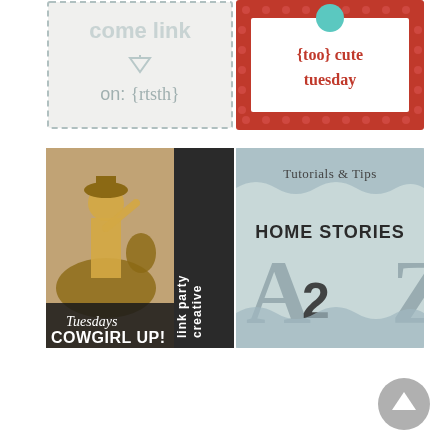[Figure (illustration): Blog badge with dashed border, light background, text 'come link on: {rtsth}']
[Figure (illustration): Blog badge with red polka-dot border on red background, text '{too} cute tuesday' in red letters]
[Figure (illustration): Blog badge for 'Tuesdays COWGIRL UP! creative link party' with vintage cowgirl on horse image]
[Figure (illustration): Blog badge for 'Tutorials & Tips HOME STORIES A2Z' with light blue/gray background]
[Figure (illustration): Round gray scroll-to-top button in bottom right corner]